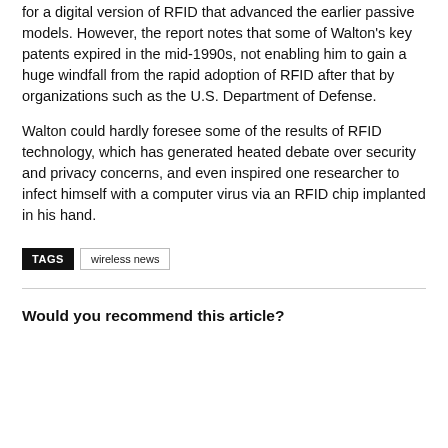for a digital version of RFID that advanced the earlier passive models. However, the report notes that some of Walton's key patents expired in the mid-1990s, not enabling him to gain a huge windfall from the rapid adoption of RFID after that by organizations such as the U.S. Department of Defense.
Walton could hardly foresee some of the results of RFID technology, which has generated heated debate over security and privacy concerns, and even inspired one researcher to infect himself with a computer virus via an RFID chip implanted in his hand.
TAGS  wireless news
Would you recommend this article?